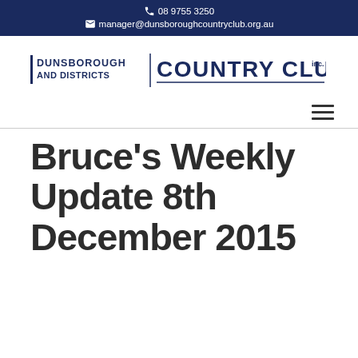📞 08 9755 3250
✉ manager@dunsboroughcountryclub.org.au
[Figure (logo): Dunsborough and Districts Country Club Inc. logo — text-based logo with 'DUNSBOROUGH AND DISTRICTS' on the left and 'COUNTRY CLUB' in larger bold navy/blue text on the right, with 'inc.' in smaller text]
Bruce's Weekly Update 8th December 2015